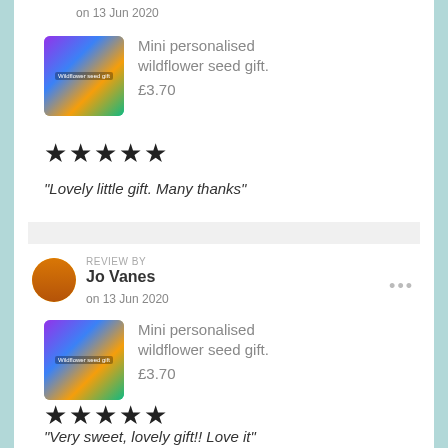on 13 Jun 2020
[Figure (photo): Product thumbnail: Mini personalised wildflower seed gift, colourful floral packaging]
Mini personalised wildflower seed gift.
£3.70
★★★★★
“Lovely little gift. Many thanks”
REVIEW BY
[Figure (photo): Circular avatar photo of Jo Vanes]
Jo Vanes
on 13 Jun 2020
[Figure (photo): Product thumbnail: Mini personalised wildflower seed gift, colourful floral packaging]
Mini personalised wildflower seed gift.
£3.70
★★★★★
“Very sweet, lovely gift!! Love it”